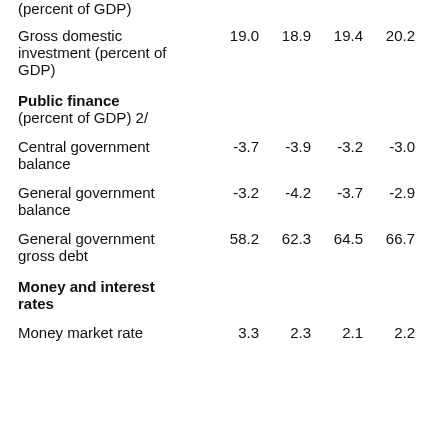|  |  |  |  |  |  |
| --- | --- | --- | --- | --- | --- |
| (percent of GDP) |  |  |  |  |  |
| Gross domestic investment (percent of GDP) | 19.0 | 18.9 | 19.4 | 20.2 | 20.3 |
| Public finance (percent of GDP) 2/ |  |  |  |  |  |
| Central government balance | -3.7 | -3.9 | -3.2 | -3.0 | -2.5 |
| General government balance | -3.2 | -4.2 | -3.7 | -2.9 | -2.6 |
| General government gross debt | 58.2 | 62.3 | 64.5 | 66.7 | 64.3 |
| Money and interest rates |  |  |  |  |  |
| Money market rate | 3.3 | 2.3 | 2.1 | 2.2 | 3.4 |